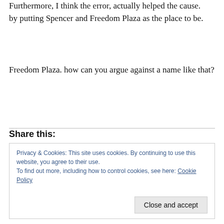Furthermore, I think the error, actually helped the cause. by putting Spencer and Freedom Plaza as the place to be.
Freedom Plaza. how can you argue against a name like that?
Share this:
Privacy & Cookies: This site uses cookies. By continuing to use this website, you agree to their use.
To find out more, including how to control cookies, see here: Cookie Policy